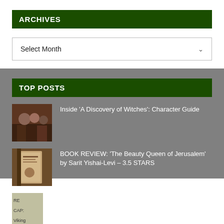ARCHIVES
Select Month
TOP POSTS
Inside 'A Discovery of Witches': Character Guide
BOOK REVIEW: 'The Beauty Queen of Jerusalem' by Sarit Yishai-Levi – 3.5 STARS
RECAP: 'Vikings' Season 3, Episode 2 "The Wanderer" & Preview Episode 3 "Warrior's Fate"